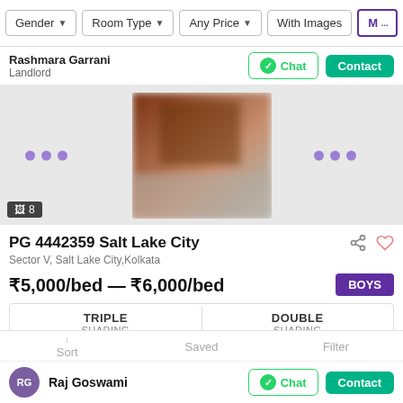Gender  Room Type  Any Price  With Images  M...
Rashmara Garrani
Landlord
[Figure (photo): Blurry interior room photo shown in a carousel with navigation dots on left and right sides. Image count badge shows 8.]
PG 4442359 Salt Lake City
Sector V, Salt Lake City,Kolkata
₹5,000/bed — ₹6,000/bed
TRIPLE SHARING   DOUBLE SHARING
Rent property in the heart of Kolkata city. It is one of the most desi...
Raj Goswami